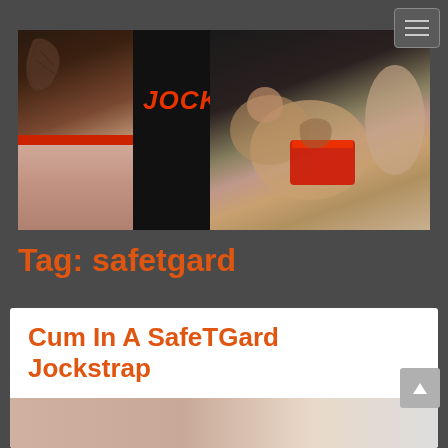[Figure (screenshot): Website header banner for 'Jockstrapping' blog showing the site logo/banner with the text JOCKSTRAPPING in red italic bold letters and photos of men in jockstraps on a dark background]
Tag: safetgard
Cum In A SafeTGard Jockstrap
July 19, 2017   deusex   0 Comments